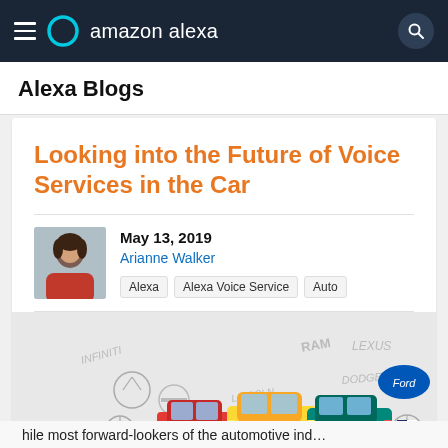amazon alexa
Alexa Blogs
Looking into the Future of Voice Services in the Car
May 13, 2019
Arianne Walker
Alexa
Alexa Voice Service
Auto
[Figure (illustration): Illustration showing colorful cartoon cars (red, yellow, teal) in front of automotive brand logos including Infiniti, Nissan, Lincoln, RAM, Lexus, Dodge, Ford, Mercedes-Benz, BMW]
hile most forward-lookers of the automotive ind…